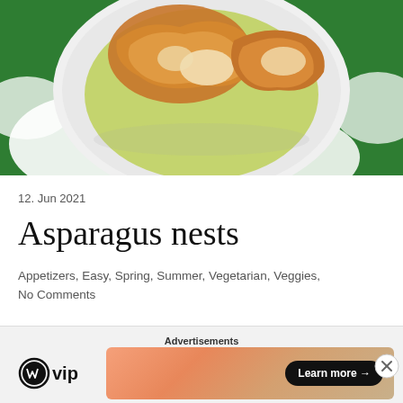[Figure (photo): Food photo showing asparagus nests on a white plate set on a green and white decorative tablecloth]
12. Jun 2021
Asparagus nests
Appetizers, Easy, Spring, Summer, Vegetarian, Veggies,
No Comments
[Figure (infographic): Advertisement bar with WordPress VIP logo and a gradient banner with Learn more button]